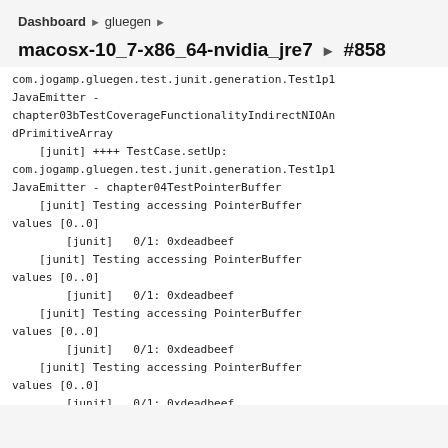Dashboard ▶ gluegen ▶
macosx-10_7-x86_64-nvidia_jre7 ▶ #858
com.jogamp.gluegen.test.junit.generation.Test1p1JavaEmitter - chapter03bTestCoverageFunctionalityIndirectNIOAndPrimitiveArray
    [junit] ++++ TestCase.setUp: com.jogamp.gluegen.test.junit.generation.Test1p1JavaEmitter - chapter04TestPointerBuffer
    [junit] Testing accessing PointerBuffer values [0..0]
        [junit]   0/1: 0xdeadbeef
    [junit] Testing accessing PointerBuffer values [0..0]
        [junit]   0/1: 0xdeadbeef
    [junit] Testing accessing PointerBuffer values [0..0]
        [junit]   0/1: 0xdeadbeef
    [junit] Testing accessing PointerBuffer values [0..0]
        [junit]   0/1: 0xdeadbeef